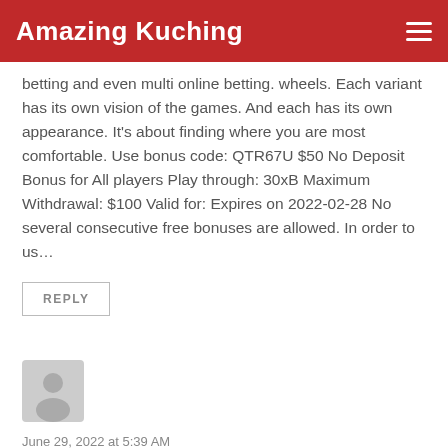Amazing Kuching
betting and even multi online betting. wheels. Each variant has its own vision of the games. And each has its own appearance. It's about finding where you are most comfortable. Use bonus code: QTR67U $50 No Deposit Bonus for All players Play through: 30xB Maximum Withdrawal: $100 Valid for: Expires on 2022-02-28 No several consecutive free bonuses are allowed. In order to us…
REPLY
June 29, 2022 at 5:39 AM
jnxsyjpx
stromectol 0.5 mg ivermectin online
REPLY